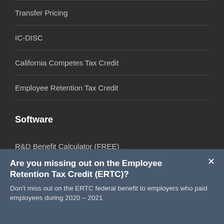Transfer Pricing
IC-DISC
California Competes Tax Credit
Employee Retention Tax Credit
Software
R&D Benefit Calculator (FREE)
R&D Payroll Tax Credit Calculator
Are you missing out on the Employee Retention Tax Credit (ERTC)?
Don't miss out on the ERTC federal benefit to employers who paid employees during 2020–2021